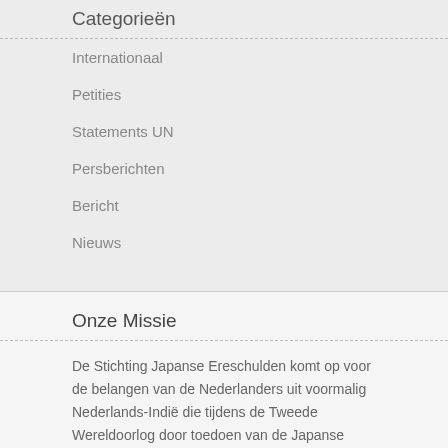Categorieën
Internationaal
Petities
Statements UN
Persberichten
Bericht
Nieuws
Onze Missie
De Stichting Japanse Ereschulden komt op voor de belangen van de Nederlanders uit voormalig Nederlands-Indië die tijdens de Tweede Wereldoorlog door toedoen van de Japanse overheid schade hebben geleden door hen gevangen te houden in concentratiekampen,